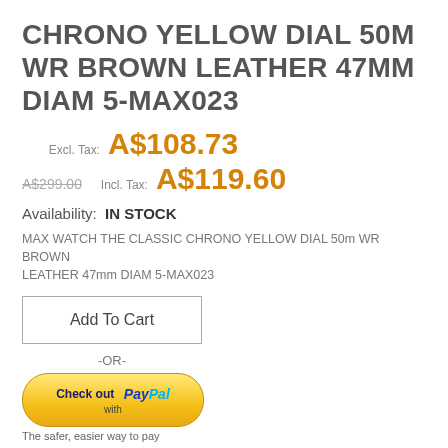CHRONO YELLOW DIAL 50M WR BROWN LEATHER 47MM DIAM 5-MAX023
Excl. Tax: A$108.73
A$299.00 Incl. Tax: A$119.60
Availability: IN STOCK
MAX WATCH THE CLASSIC CHRONO YELLOW DIAL 50m WR BROWN LEATHER 47mm DIAM 5-MAX023
[Figure (other): Add To Cart button — rectangular button with gray border]
-OR-
[Figure (other): PayPal checkout button — yellow rounded button with PayPal logo and text 'Check out with PayPal' and subtitle 'The safer, easier way to pay']
[Figure (other): Two small gray square buttons at bottom]